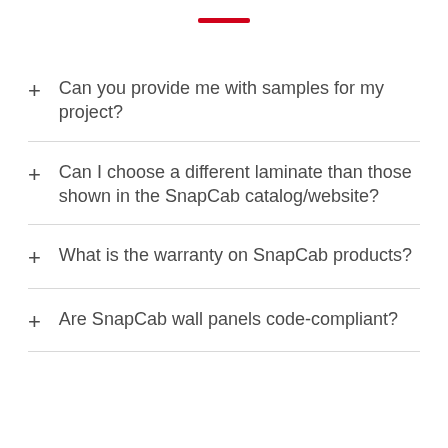Can you provide me with samples for my project?
Can I choose a different laminate than those shown in the SnapCab catalog/website?
What is the warranty on SnapCab products?
Are SnapCab wall panels code-compliant?